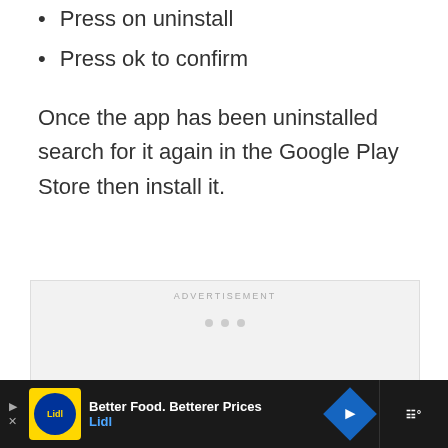Press on uninstall
Press ok to confirm
Once the app has been uninstalled search for it again in the Google Play Store then install it.
[Figure (other): Advertisement placeholder box with 'ADVERTISEMENT' label and three loading dots]
[Figure (other): Lidl advertisement banner: 'Better Food. Betterer Prices' with Lidl brand logo and navigation button]